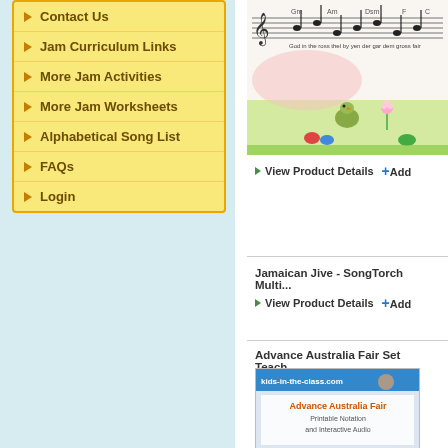Contact Us
Jam Curriculum Links
More Jam Activities
More Jam Worksheets
Alphabetical Song List
FAQs
Login
[Figure (illustration): Sheet music with cartoon birds and flowers illustration for a music education product]
View Product Details
+ Add
Jamaican Jive - SongTorch Multi...
View Product Details
+ Add
Advance Australia Fair Set Teach...
[Figure (screenshot): Thumbnail image for Advance Australia Fair Set Teacher resource showing printable notation and interactive audio]